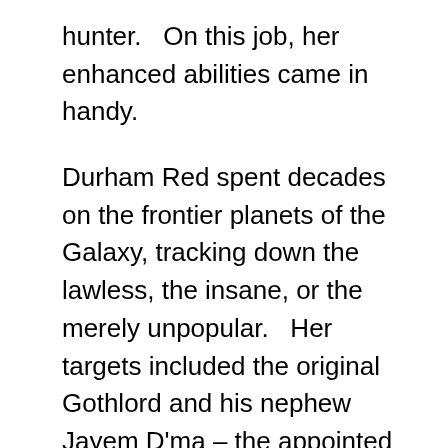hunter.   On this job, her enhanced abilities came in handy.
Durham Red spent decades on the frontier planets of the Galaxy, tracking down the lawless, the insane, or the merely unpopular.   Her targets included the original Gothlord and his nephew Jayem D'ma – the appointed Gothlord of ma.
The Gothlord situation also forced her into facing ten of the deadliest, most vicious killers and assassins in the known universe in perhaps her greatest peril thus far.   She